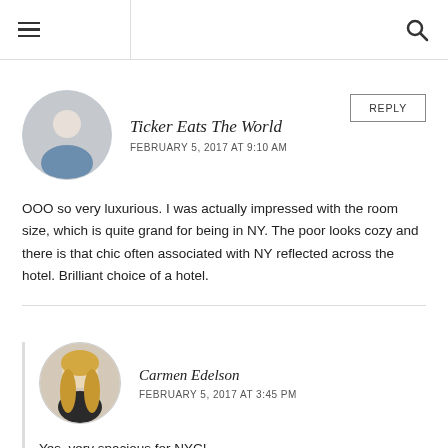≡  [navigation bar]  🔍
Ticker Eats The World
FEBRUARY 5, 2017 AT 9:10 AM
OOO so very luxurious. I was actually impressed with the room size, which is quite grand for being in NY. The poor looks cozy and there is that chic often associated with NY reflected across the hotel. Brilliant choice of a hotel.
Carmen Edelson
FEBRUARY 5, 2017 AT 3:45 PM
Yes, very spacious for NYC!